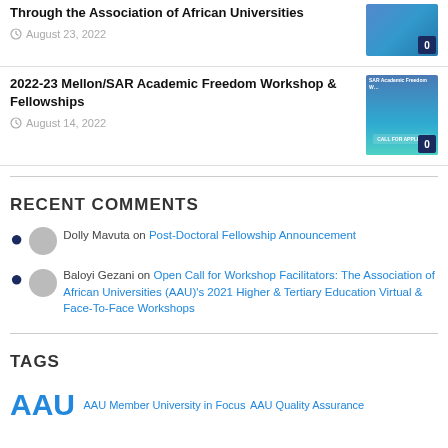Through the Association of African Universities
August 23, 2022
2022-23 Mellon/SAR Academic Freedom Workshop & Fellowships
August 14, 2022
RECENT COMMENTS
Dolly Mavuta on Post-Doctoral Fellowship Announcement
Baloyi Gezani on Open Call for Workshop Facilitators: The Association of African Universities (AAU)'s 2021 Higher & Tertiary Education Virtual & Face-To-Face Workshops
TAGS
AAU  AAU Member University in Focus  AAU Quality Assurance